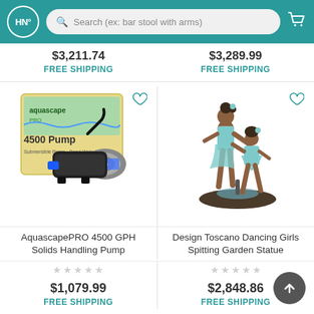HN° | Search (ex: bar stool with arms)
$3,211.74
FREE SHIPPING
$3,289.99
FREE SHIPPING
[Figure (photo): AquascapePRO 4500 GPH pump product photo with box]
[Figure (photo): Design Toscano Dancing Girls Spitting Garden Statue bronze sculpture]
AquascapePRO 4500 GPH Solids Handling Pump
Design Toscano Dancing Girls Spitting Garden Statue
$1,079.99
FREE SHIPPING
$2,848.86
FREE SHIPPING